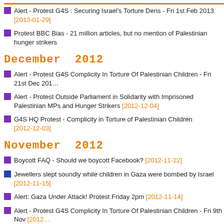Alert - Protest G4S : Securing Israel's Torture Dens - Fri 1st Feb 2013 [2013-01-29]
Protest BBC Bias - 21 million articles, but no mention of Palestinian hunger strikers
December 2012
Alert - Protest G4S Complicity In Torture Of Palestinian Children - Fri 21st Dec 201…
Alert - Protest Outside Parliament in Solidarity with Imprisoned Palestinian MPs and Hunger Strikers [2012-12-04]
G4S HQ Protest - Complicity in Torture of Palestinian Children [2012-12-03]
November 2012
Boycott FAQ - Should we boycott Facebook? [2012-11-22]
Jewellers slept soundly while children in Gaza were bombed by Israel [2012-11-15]
Alert: Gaza Under Attack! Protest Friday 2pm [2012-11-14]
Alert - Protest G4S Complicity In Torture Of Palestinian Children - Fri 9th Nov [2012…]
Free all Palestinian MPs and Ministers [2012-11-07]
October 2012
Final Preparation - Protest in Solidarity with Imprisoned Palestinian MPs [2012-10-…]
Alert - Protest in Solidarity with imprisoned Palestinian MPs [2012-10-24]